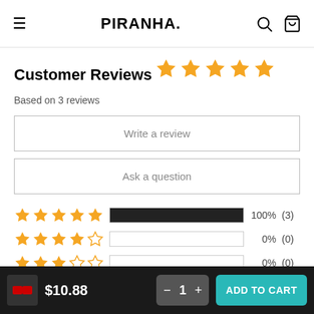PIRANHA
Customer Reviews
[Figure (other): 5 filled gold stars rating]
Based on 3 reviews
Write a review
Ask a question
[Figure (bar-chart): Star rating distribution]
$10.88  −  1  +  ADD TO CART